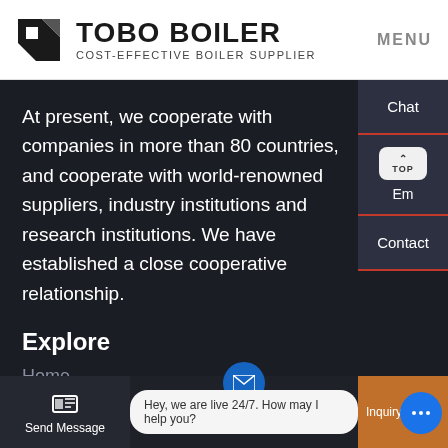[Figure (logo): TOBO BOILER logo with geometric icon and tagline COST-EFFECTIVE BOILER SUPPLIER]
MENU
At present, we cooperate with companies in more than 80 countries, and cooperate with world-renowned suppliers, industry institutions and research institutions. We have established a close cooperative relationship.
Chat
Explore
Em
Home
About
Contact
Send Message
Hey, we are live 24/7. How may I help you?
Inquiry Online